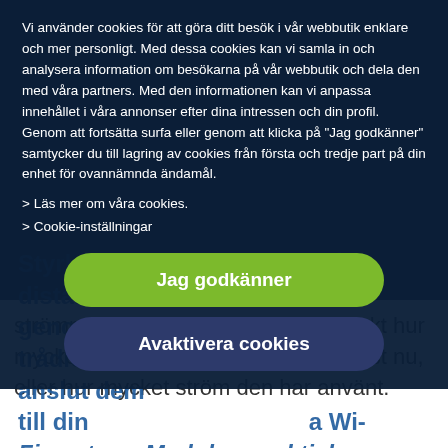[Figure (screenshot): Cookie consent overlay on a Swedish e-commerce website. The overlay contains a text block explaining cookie usage, two links ('Läs mer om våra cookies.' and 'Cookie-inställningar'), a green 'Jag godkänner' (I accept) button, and a dark blue 'Avaktivera cookies' (Deactivate cookies) button. Behind the overlay, partially visible Swedish text about controlling electrical appliances remotely and a power monitor is shown.]